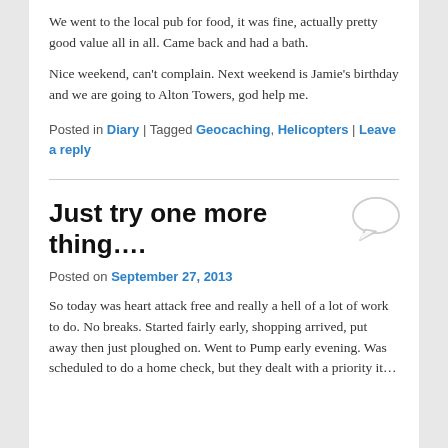We went to the local pub for food, it was fine, actually pretty good value all in all. Came back and had a bath.
Nice weekend, can't complain. Next weekend is Jamie's birthday and we are going to Alton Towers, god help me.
Posted in Diary | Tagged Geocaching, Helicopters | Leave a reply
Just try one more thing….
Posted on September 27, 2013
So today was heart attack free and really a hell of a lot of work to do. No breaks. Started fairly early, shopping arrived, put away then just ploughed on. Went to Pump early evening. Was scheduled to do a home check, but they dealt with a priority item...